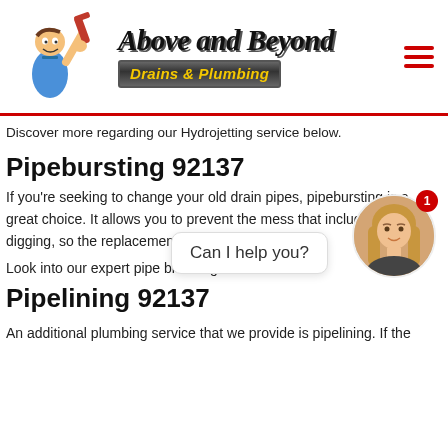[Figure (logo): Above and Beyond Drains & Plumbing logo with cartoon plumber holding a wrench]
Discover more regarding our Hydrojetting service below.
Pipebursting 92137
If you're seeking to change your old drain pipes, pipebursting is a great choice. It allows you to prevent the mess that includes trench-digging, so the replacement is nice and smooth.
Look into our expert pipe breaking service below.
Pipelining 92137
[Figure (illustration): Chat widget with 'Can I help you?' bubble and female assistant avatar with red notification badge showing 1]
An additional plumbing service that we provide is pipelining. If the